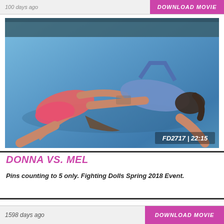100 days ago   DOWNLOAD MOVIE
[Figure (photo): Two female wrestlers grappling on a blue mat. One in pink outfit, one in blue outfit. ID overlay: FD2717 | 22:15]
DONNA VS. MEL
Pins counting to 5 only. Fighting Dolls Spring 2018 Event.
1598 days ago   DOWNLOAD MOVIE